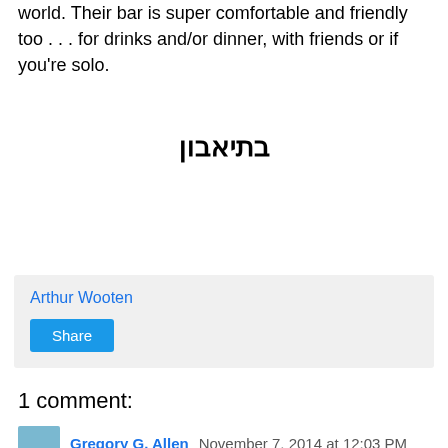world. Their bar is super comfortable and friendly too . . . for drinks and/or dinner, with friends or if you're solo.
בתיאבון
Arthur Wooten
Share
1 comment:
Gregory G. Allen  November 7, 2014 at 12:03 PM